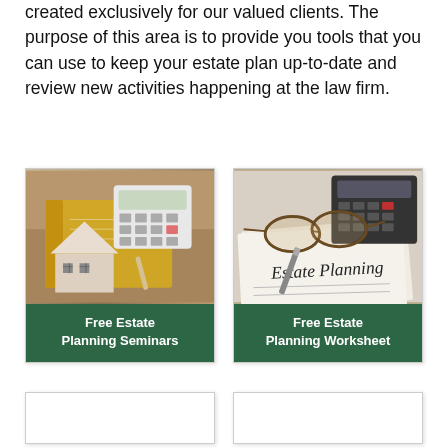created exclusively for our valued clients. The purpose of this area is to provide you tools that you can use to keep your estate plan up-to-date and review new activities happening at the law firm.
[Figure (photo): Photo of a small wooden house model, calculator, notebook with pen on a wooden surface. Green banner below reads 'Free Estate Planning Seminars'.]
[Figure (photo): Photo of glasses, a pen, and a calculator resting on a document labeled 'Estate Planning'. Green banner below reads 'Free Estate Planning Worksheet'.]